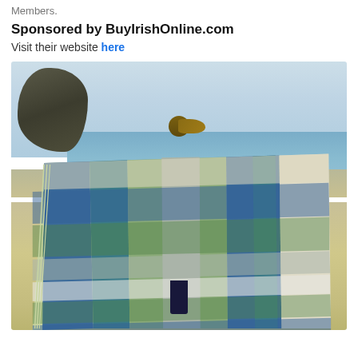Members.
Sponsored by BuyIrishOnline.com
Visit their website here
[Figure (photo): A person standing on a sandy beach holding up a large plaid/tartan wool blanket in shades of blue, green, and grey, with a rocky headland visible in the background and the sea behind.]